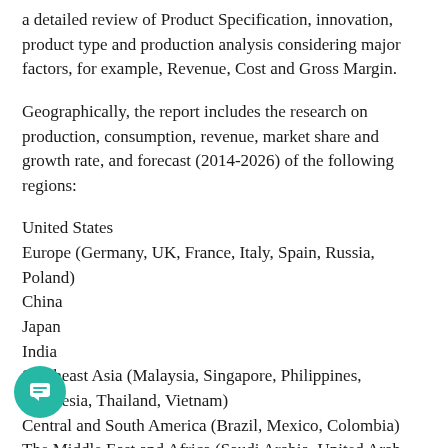a detailed review of Product Specification, innovation, product type and production analysis considering major factors, for example, Revenue, Cost and Gross Margin.
Geographically, the report includes the research on production, consumption, revenue, market share and growth rate, and forecast (2014-2026) of the following regions:
United States
Europe (Germany, UK, France, Italy, Spain, Russia, Poland)
China
Japan
India
Southeast Asia (Malaysia, Singapore, Philippines, Indonesia, Thailand, Vietnam)
Central and South America (Brazil, Mexico, Colombia)
The Middle East and Africa (Saudi Arabia, United Arab…